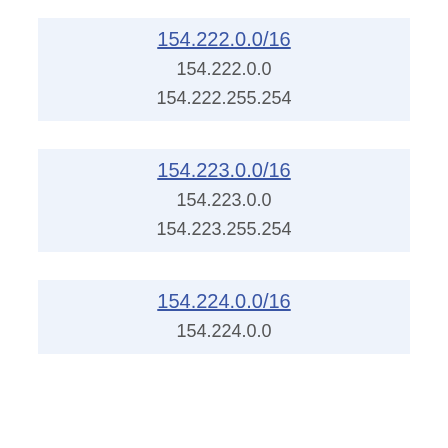154.222.0.0/16
154.222.0.0
154.222.255.254
154.223.0.0/16
154.223.0.0
154.223.255.254
154.224.0.0/16
154.224.0.0